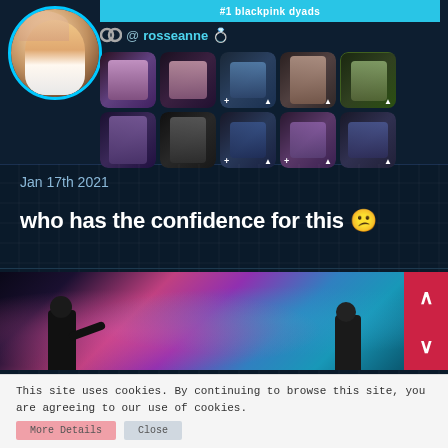[Figure (screenshot): Social media profile card with circular profile photo (person with light hair), cyan glowing border, username '@rosseanne' with ring emojis, '#1 blackpink dyads' header bar in cyan, and a 5x2 grid of thumbnail images]
Jan 17th 2021
who has the confidence for this ☉
[Figure (photo): Performance photo of two performers on stage with colorful pink and blue smoke/lighting, dressed in black outfits]
This site uses cookies. By continuing to browse this site, you are agreeing to our use of cookies.
More Details   Close